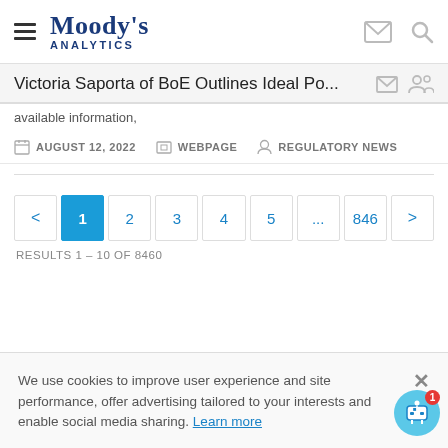Moody's Analytics
Victoria Saporta of BoE Outlines Ideal Po...
available information,
AUGUST 12, 2022   WEBPAGE   REGULATORY NEWS
< 1 2 3 4 5 ... 846 >
RESULTS 1 – 10 OF 8460
We use cookies to improve user experience and site performance, offer advertising tailored to your interests and enable social media sharing. Learn more